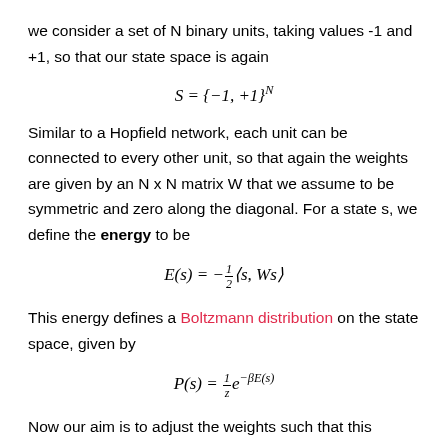we consider a set of N binary units, taking values -1 and +1, so that our state space is again
Similar to a Hopfield network, each unit can be connected to every other unit, so that again the weights are given by an N x N matrix W that we assume to be symmetric and zero along the diagonal. For a state s, we define the energy to be
This energy defines a Boltzmann distribution on the state space, given by
Now our aim is to adjust the weights such that this